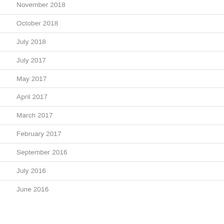November 2018
October 2018
July 2018
July 2017
May 2017
April 2017
March 2017
February 2017
September 2016
July 2016
June 2016